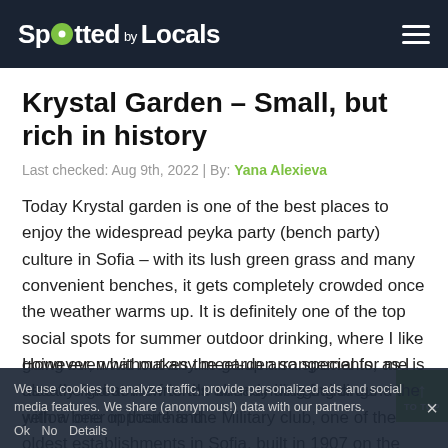Spotted by Locals
Krystal Garden – Small, but rich in history
Last checked: Aug 9th, 2022 | By: Yana Alexieva
Today Krystal garden is one of the best places to enjoy the widespread peyka party (bench party) culture in Sofia – with its lush green grass and many convenient benches, it gets completely crowded once the weather warms up. It is definitely one of the top social spots for summer outdoor drinking, where I like going even without any meet-up arrangements, as I usually find some friends already hanging around with a beer in their hand.
However, what makes the garden so special for me is also the great view to the surrounding buildings – the yellow one opposite is the Military club, one of the oldest establishments in Sofia, built in 1907 on the place of the old military school. Next to it is the Russian church with its
We use cookies to analyze traffic, provide personalized ads and social media features. We share (anonymous!) data with our partners.